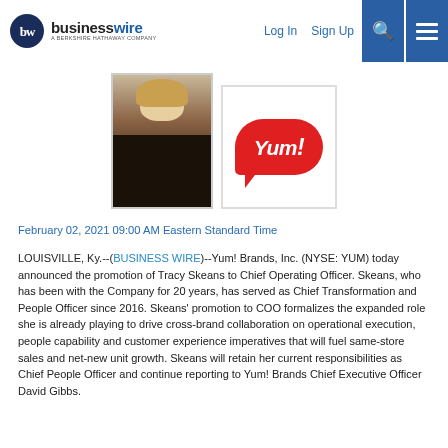businesswire — A BERKSHIRE HATHAWAY COMPANY | Log In | Sign Up
[Figure (photo): Headshot of Tracy Skeans (woman with blonde hair in black outfit) next to the Yum! Brands logo (red speech bubble with 'Yum!' in white italic text)]
February 02, 2021 09:00 AM Eastern Standard Time
LOUISVILLE, Ky.--(BUSINESS WIRE)--Yum! Brands, Inc. (NYSE: YUM) today announced the promotion of Tracy Skeans to Chief Operating Officer. Skeans, who has been with the Company for 20 years, has served as Chief Transformation and People Officer since 2016. Skeans' promotion to COO formalizes the expanded role she is already playing to drive cross-brand collaboration on operational execution, people capability and customer experience imperatives that will fuel same-store sales and net-new unit growth. Skeans will retain her current responsibilities as Chief People Officer and continue reporting to Yum! Brands Chief Executive Officer David Gibbs.